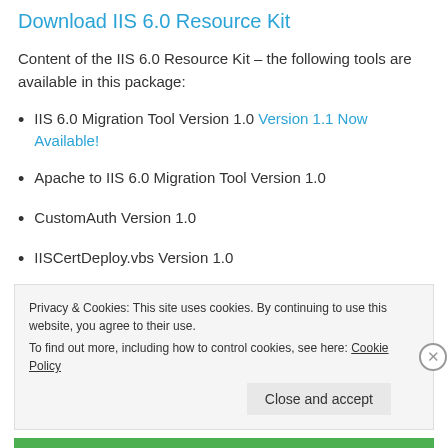Download IIS 6.0 Resource Kit
Content of the IIS 6.0 Resource Kit – the following tools are available in this package:
IIS 6.0 Migration Tool Version 1.0 Version 1.1 Now Available!
Apache to IIS 6.0 Migration Tool Version 1.0
CustomAuth Version 1.0
IISCertDeploy.vbs Version 1.0
Privacy & Cookies: This site uses cookies. By continuing to use this website, you agree to their use.
To find out more, including how to control cookies, see here: Cookie Policy